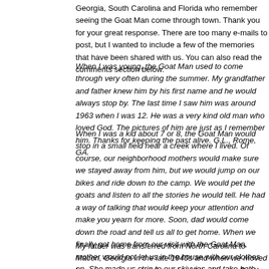Georgia, South Carolina and Florida who remember seeing the Goat Man come through town. Thank you for your great response. There are too many e-mails to post, but I wanted to include a few of the memories that have been shared with us. You can also read the comments section below.
When I was young, the Goat Man used to come through very often during the summer. My grandfather and father knew him by his first name and he would always stop by. The last time I saw him was around 1963 when I was 12. He was a very kind old man who loved God. The pictures of him are just as I remember him. Thanks for keeping the past alive. G.L., Rome, GA.
When I was a kid about 7 or 8, the Goat Man would stop in a small field near a creek where I lived. Of course, our neighborhood mothers would make sure we stayed away from him, but we would jump on our bikes and ride down to the camp. We would pet the goats and listen to all the stories he would tell. He had a way of talking that would keep your attention and make you yearn for more. Soon, dad would come down the road and tell us all to get home. When we finally got home from our visit with the Goat Man, mother would not let us in the house with our clothes on. She made us strip to our skivvies and take bath number one under the garden hose. Then, we would be allowed inside and scrub again. Thanks, K.C., GA.
My father was transferred from North Carolina to Macon, Georgia in the late 1940s and when we moved here I was amazed at the sights of the big city. But the most strange and unique sight I saw as we approached Macon was a very strange-loo